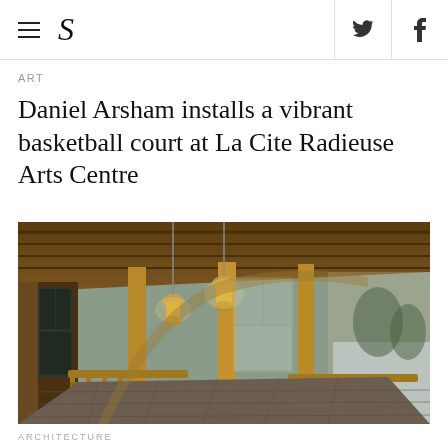≡  S  [twitter] [facebook]
ART
Daniel Arsham installs a vibrant basketball court at La Cite Radieuse Arts Centre
[Figure (photo): Interior photo of a curved wooden hallway or gallery space with warm lantern lighting, wooden ceiling beams, large glass windows, stone flooring, and ornate wooden railings. Snow is visible outside through the windows.]
ARCHITECTURE